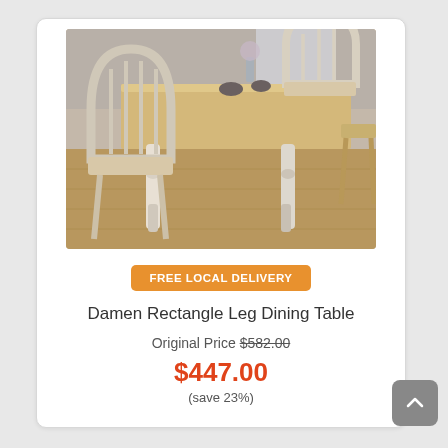[Figure (photo): Photo of a Damen Rectangle Leg Dining Table with white legs and a natural wood top, surrounded by white and wood Windsor-style chairs on a hardwood floor.]
FREE LOCAL DELIVERY
Damen Rectangle Leg Dining Table
Original Price $582.00
$447.00
(save 23%)